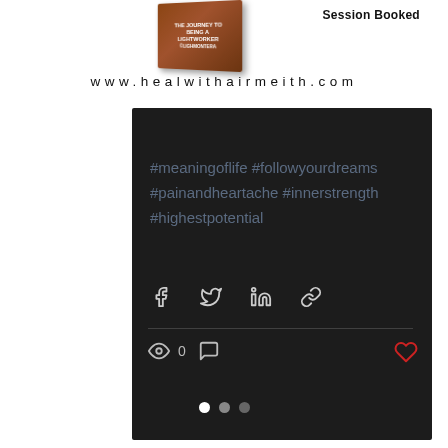[Figure (illustration): Book cover tilted in 3D perspective showing 'THE JOURNEY TO BEING A LIGHTWORKER' text on a brown/chocolate colored book]
Session Booked
www.healwithairmeith.com
[Figure (screenshot): Dark social media post card with hashtags #meaningoflife #followyourdreams #painandheartache #innerstrength #highestpotential, share icons for Facebook, Twitter, LinkedIn, link, and interaction row with view count 0, comment icon, and heart/like icon in red]
#meaningoflife #followyourdreams #painandheartache #innerstrength #highestpotential